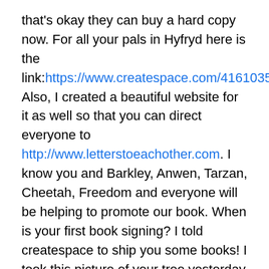that's okay they can buy a hard copy now. For all your pals in Hyfryd here is the link:https://www.createspace.com/4161035. Also, I created a beautiful website for it as well so that you can direct everyone to http://www.letterstoeachother.com. I know you and Barkley, Anwen, Tarzan, Cheetah, Freedom and everyone will be helping to promote our book. When is your first book signing? I told createspace to ship you some books! I took this picture of your tree yesterday at Buhl Park, the day the book was published. When I got there the wind came in very strong and this one very dark green leaf was actually waving as though you were saying hello. I loved that. Do you like the cover? I really do! They did a great job with the design don't you think? I want to hear all of your thoughts because really, the book is all about you sweet girl. Of course we are working girls and I